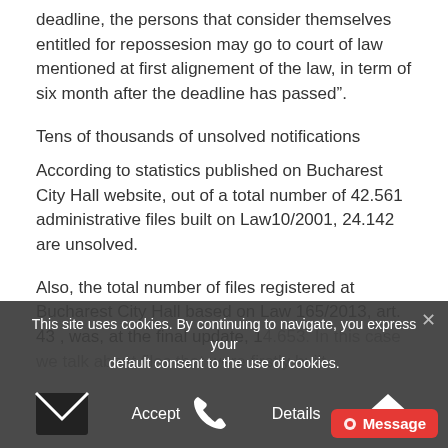deadline, the persons that consider themselves entitled for repossesion may go to court of law mentioned at first alignement of the law, in term of six month after the deadline has passed”.
Tens of thousands of unsolved notifications
According to statistics published on Bucharest City Hall website, out of a total number of 42.561 administrative files built on Law10/2001, 24.142 are unsolved.
Also, the total number of files registered at Bucharest City Hall based on Law 165/2013, art. 43 , was, at the final update, 14.653. In this case we talk about files that were firstly built
This site uses cookies. By continuing to navigate, you express your default consent to the use of cookies.